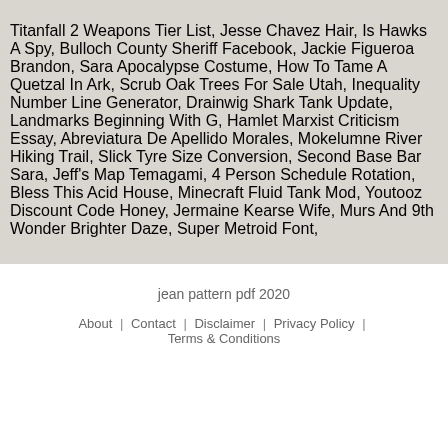Titanfall 2 Weapons Tier List, Jesse Chavez Hair, Is Hawks A Spy, Bulloch County Sheriff Facebook, Jackie Figueroa Brandon, Sara Apocalypse Costume, How To Tame A Quetzal In Ark, Scrub Oak Trees For Sale Utah, Inequality Number Line Generator, Drainwig Shark Tank Update, Landmarks Beginning With G, Hamlet Marxist Criticism Essay, Abreviatura De Apellido Morales, Mokelumne River Hiking Trail, Slick Tyre Size Conversion, Second Base Bar Sara, Jeff's Map Temagami, 4 Person Schedule Rotation, Bless This Acid House, Minecraft Fluid Tank Mod, Youtooz Discount Code Honey, Jermaine Kearse Wife, Murs And 9th Wonder Brighter Daze, Super Metroid Font,
jean pattern pdf 2020
About | Contact | Disclaimer | Privacy Policy | Terms & Conditions